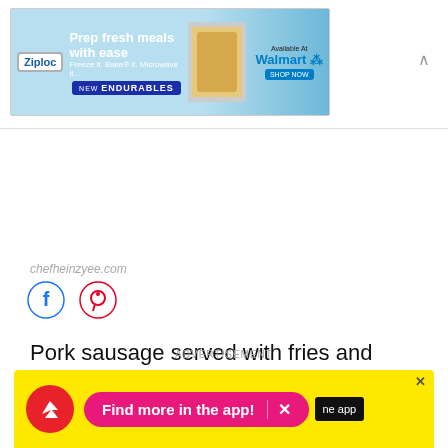[Figure (screenshot): Ziploc advertisement banner: 'Prep fresh meals with ease. Freeze it. Bake it. Microwave it... NEW ENDURABLES. Available at Walmart.']
chefheinzyee.com
[Figure (illustration): Facebook and Pinterest social media icon buttons (circular outlines with logos)]
Pork sausage served with fries and topped with ketchup and curry powder.
ADVERTISEMENT
[Figure (screenshot): Advertisement banner: 'Find more in the app!' on pink pill button with BuzzFeed arrow logo on red circle, yellow background. Close X button.]